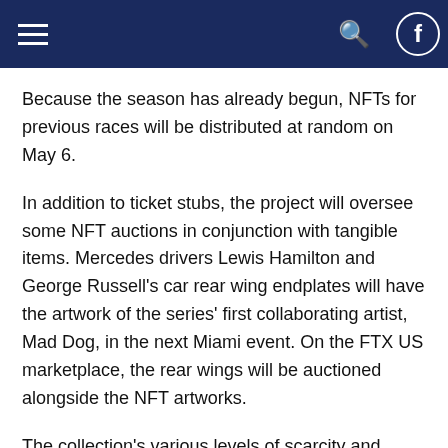Navigation bar with hamburger menu, search icon, and Facebook icon
Because the season has already begun, NFTs for previous races will be distributed at random on May 6.
In addition to ticket stubs, the project will oversee some NFT auctions in conjunction with tangible items. Mercedes drivers Lewis Hamilton and George Russell's car rear wing endplates will have the artwork of the series' first collaborating artist, Mad Dog, in the next Miami event. On the FTX US marketplace, the rear wings will be auctioned alongside the NFT artworks.
The collection's various levels of scarcity and accessibility will allow a larger spectrum of fans to participate in the project while also providing Mercedes with data on consumers' willingness to pay for digital